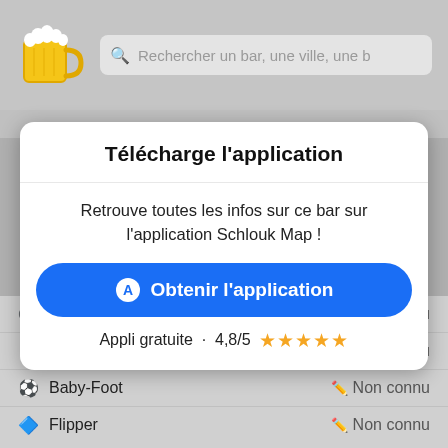[Figure (screenshot): Beer mug emoji icon used as app logo]
Rechercher un bar, une ville, une b
Télécharge l'application
Retrouve toutes les infos sur ce bar sur l'application Schlouk Map !
Obtenir l'application
Appli gratuite · 4,8/5 ★★★★★
Billard  Non connu
Fléchettes  Non connu
Baby-Foot  Non connu
Flipper  Non connu